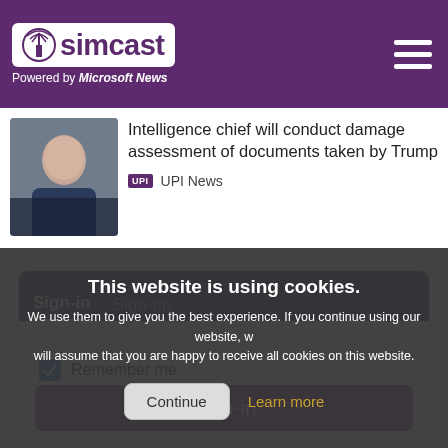simcast — Powered by Microsoft News
[Figure (photo): Photo of a woman at what appears to be a hearing or press conference]
Intelligence chief will conduct damage assessment of documents taken by Trump
UPI News
Sign-in   Sign-up
This website is using cookies.
We use them to give you the best experience. If you continue using our website, we will assume that you are happy to receive all cookies on this website.
Continue
Learn more
Remember me
Sign-in